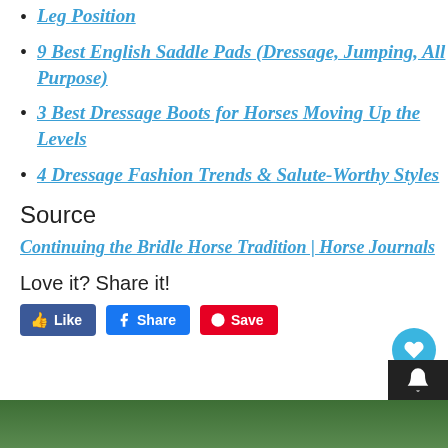Leg Position
9 Best English Saddle Pads (Dressage, Jumping, All Purpose)
3 Best Dressage Boots for Horses Moving Up the Levels
4 Dressage Fashion Trends & Salute-Worthy Styles
Source
Continuing the Bridle Horse Tradition | Horse Journals
Love it? Share it!
[Figure (screenshot): Social share buttons: Like (Facebook blue), Share (Facebook blue), Save (Pinterest red)]
[Figure (photo): Green foliage image strip at bottom of page]